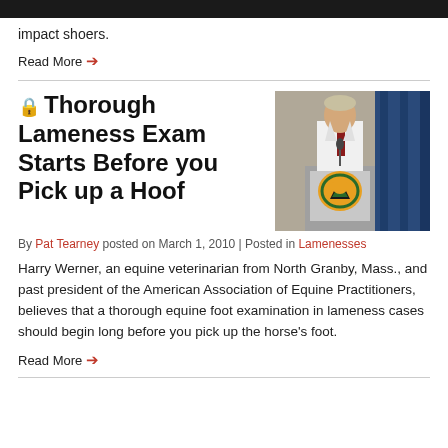impact shoers.
Read More →
🔒 Thorough Lameness Exam Starts Before you Pick up a Hoof
[Figure (photo): A man in a white shirt and tie standing at a podium with a logo on it, with a blue curtain in the background.]
By Pat Tearney posted on March 1, 2010 | Posted in Lamenesses
Harry Werner, an equine veterinarian from North Granby, Mass., and past president of the American Association of Equine Practitioners, believes that a thorough equine foot examination in lameness cases should begin long before you pick up the horse's foot.
Read More →